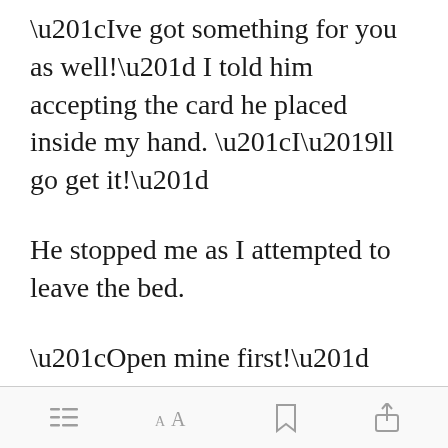“Ive got something for you as well!” I told him accepting the card he placed inside my hand. “I’ll go get it!”
He stopped me as I attempted to leave the bed.
“Open mine first!”
“Awww, that’s c… [Open in app button overlay]